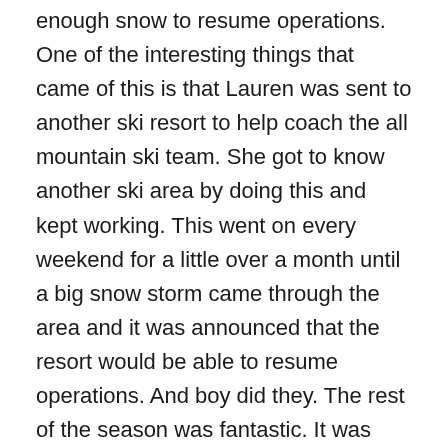enough snow to resume operations. One of the interesting things that came of this is that Lauren was sent to another ski resort to help coach the all mountain ski team. She got to know another ski area by doing this and kept working. This went on every weekend for a little over a month until a big snow storm came through the area and it was announced that the resort would be able to resume operations. And boy did they. The rest of the season was fantastic. It was busy and there was some great snow for skiing and riding. We worked hard and made up for a slow start to the season. Ben even took on a third job in ticket sales. When we left it felt like we had made it out by the skin of our teeth. But before we left, we were both offered full time year round jobs. Ben with the school district and Lauren at the ski resort. Amongst ourselves after such a tough year financially we had made the decision to take the jobs